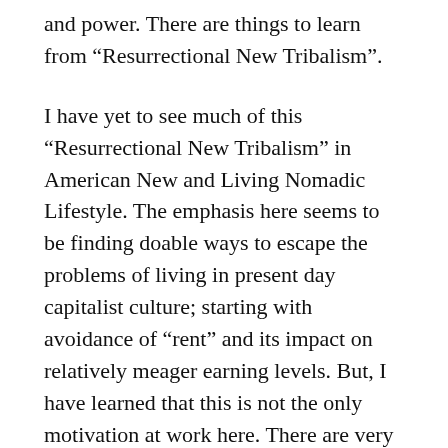and power. There are things to learn from “Resurrectional New Tribalism”.
I have yet to see much of this “Resurrectional New Tribalism” in American New and Living Nomadic Lifestyle. The emphasis here seems to be finding doable ways to escape the problems of living in present day capitalist culture; starting with avoidance of “rent” and its impact on relatively meager earning levels. But, I have learned that this is not the only motivation at work here. There are very expensive Nomadic Travel Units, operated by wealthy People, who could easily afford to live in “sticks and bricks” in today’s cultural centers. I hope to find out more about the